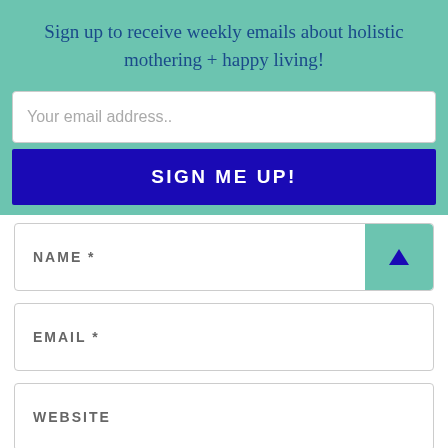Sign up to receive weekly emails about holistic mothering + happy living!
Your email address..
SIGN ME UP!
NAME *
EMAIL *
WEBSITE
Save my name, email, and website in this browser